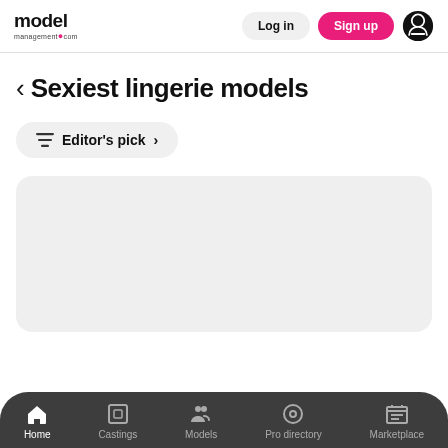model management.com | Log in | Sign up
Sexiest lingerie models
Editor's pick >
[Figure (other): Light gray content card placeholder area]
Home | Castings | Models | Pro directory | Marketplace